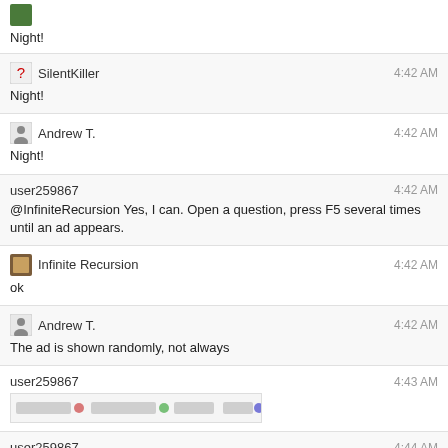Night!
SilentKiller 4:42 AM
Night!
Andrew T. 4:42 AM
Night!
user259867 4:42 AM
@InfiniteRecursion Yes, I can. Open a question, press F5 several times until an ad appears.
Infinite Recursion 4:42 AM
ok
Andrew T. 4:42 AM
The ad is shown randomly, not always
user259867 4:43 AM
[screenshot image]
user259867 4:44 AM
^ company chat, according to Kevin Montrose. Unclear what meaning site icons have here.
Infinite Recursion 4:44 AM
I am pressing F5, odds are that I will see new spam on Drupal before I see an ad ★3